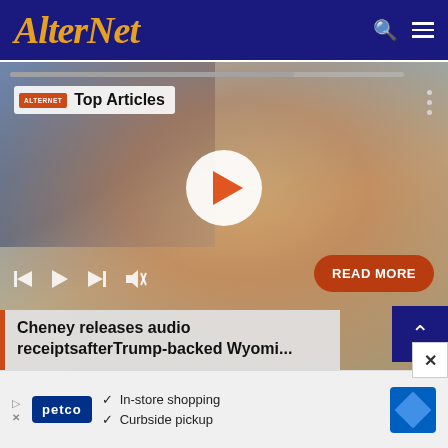AlterNet
[Figure (screenshot): Video player showing a woman with blonde hair and glasses in front of an American flag, with Top Articles badge, play button, controls, and READ MORE button. Article title: Cheney releases audio receiptsafterTrump-backed Wyomi...]
[Figure (photo): Petco advertisement banner with checkmarks for In-store shopping and Curbside pickup]